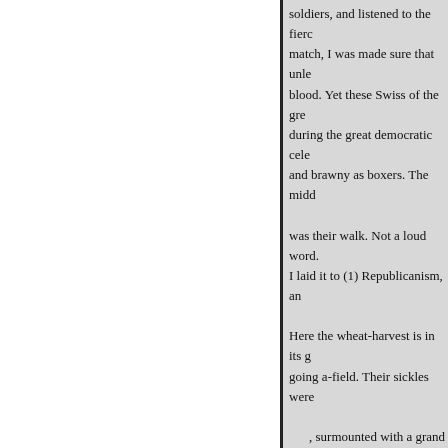soldiers, and listened to the fierc match, I was made sure that unle blood. Yet these Swiss of the gre during the great democratic cele and brawny as boxers. The midd was their walk. Not a loud word. I laid it to (1) Republicanism, an Here the wheat-harvest is in its g going a-field. Their sickles were , surmounted with a grand bou thing. VEVAY, July 21, 1851. We ar Sabbath in one of the loveliest, d the lake, and see the castle of Ch road is walled the whole way. It the swelling round mountains, v all the way. Vevay is celebrated l the contrary. The old cathedral is of the Reformers who occupied i blessed gospelsermons, of the Si English were present. It was a re